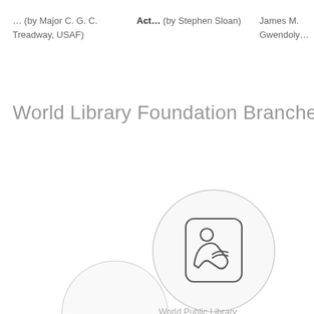… (by Major C. G. C. Treadway, USAF)
Act… (by Stephen Sloan)
James M. Gwendoly…
World Library Foundation Branches
[Figure (illustration): A circular icon with a person reading a book, inside a large light-grey circle outline]
World Public Library